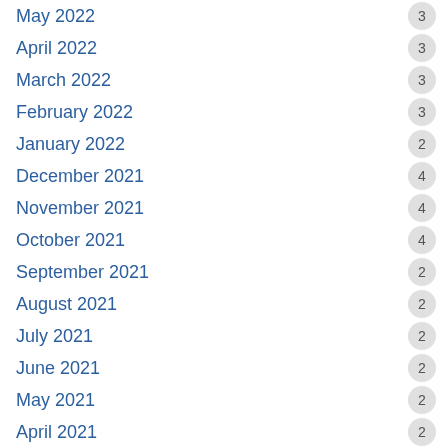May 2022 3
April 2022 3
March 2022 3
February 2022 3
January 2022 2
December 2021 4
November 2021 4
October 2021 4
September 2021 2
August 2021 2
July 2021 2
June 2021 2
May 2021 2
April 2021 2
March 2021 2
February 2021 1
December 2020 5
November 2020 2
October 2020 4
September 2020 5